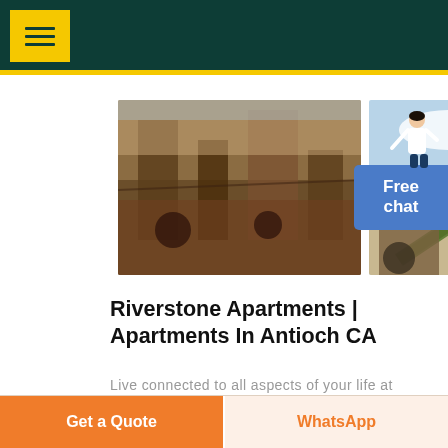[Figure (photo): Three industrial/mining scene photos shown in a row: left shows industrial equipment in a plant, center shows a conveyor or mining machine outdoors, right shows excavation machinery at a quarry or construction site.]
[Figure (illustration): Small illustration of a woman in white blazer pointing, positioned above the Free chat button.]
Riverstone Apartments | Apartments In Antioch CA
Live connected to all aspects of your life at Riverstone Apartments. Living blocks from Antioch's retail hub puts you just minutes away